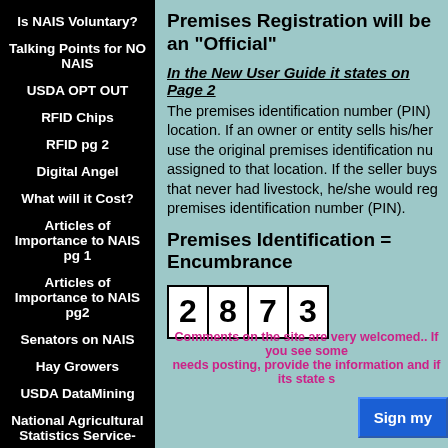Is NAIS Voluntary?
Talking Points for NO NAIS
USDA OPT OUT
RFID Chips
RFID pg 2
Digital Angel
What will it Cost?
Articles of Importance to NAIS pg 1
Articles of Importance to NAIS pg2
Senators on NAIS
Hay Growers
USDA DataMining
National Agricultural Statistics Service-
Premises Registration will be an "Official"
In the New User Guide it states on Page 2
The premises identification number (PIN) location. If an owner or entity sells his/her use the original premises identification nu assigned to that location. If the seller buys that never had livestock, he/she would reg premises identification number (PIN).
Premises Identification = Encumbrance
[Figure (other): Captcha or PIN display box showing digits 2873]
Comments on the site are very welcomed.. If you see some needs posting, provide the information and if its state s
Sign my